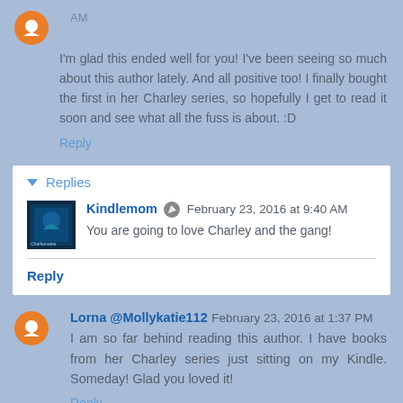AM
I'm glad this ended well for you! I've been seeing so much about this author lately. And all positive too! I finally bought the first in her Charley series, so hopefully I get to read it soon and see what all the fuss is about. :D
Reply
Replies
Kindlemom  February 23, 2016 at 9:40 AM
You are going to love Charley and the gang!
Reply
Lorna @Mollykatie112  February 23, 2016 at 1:37 PM
I am so far behind reading this author. I have books from her Charley series just sitting on my Kindle. Someday! Glad you loved it!
Reply